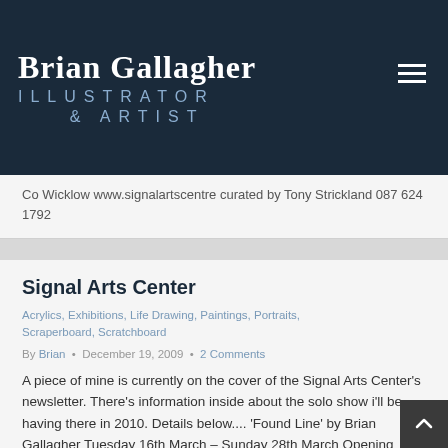Brian Gallagher ILLUSTRATOR & ARTIST
Co Wicklow www.signalartscentre curated by Tony Strickland 087 624 1792
Signal Arts Center
Acrylics, Exhibitions, Life Drawing, Paintings, Portraits, Scraperboard, Scratchboard
By Brian • December 19, 2009 • 2 Comments
A piece of mine is currently on the cover of the Signal Arts Center's newsletter. There's information inside about the solo show i'll be having there in 2010. Details below.... 'Found Line' by Brian Gallagher Tuesday 16th March – Sunday 28th March Opening Reception: Friday 19th March, 7-9pm